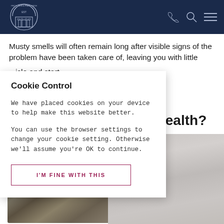Petty Son & Prestwich — navigation header with logo, phone, search, and menu icons
Musty smells will often remain long after visible signs of the problem have been taken care of, leaving you with little [...]icle and start
[...] r health?
[Figure (screenshot): Cookie Control modal overlay on a webpage. Title: Cookie Control. Body: We have placed cookies on your device to help make this website better. You can use the browser settings to change your cookie setting. Otherwise we'll assume you're OK to continue. Button: I'M FINE WITH THIS]
[Figure (photo): Background image showing mold/damp on a surface on the left and a grey/lavender wall on the right]